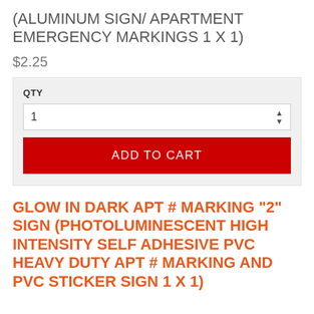(ALUMINUM SIGN/ APARTMENT EMERGENCY MARKINGS 1 X 1)
$2.25
QTY
1
ADD TO CART
GLOW IN DARK APT # MARKING "2" SIGN (PHOTOLUMINESCENT HIGH INTENSITY SELF ADHESIVE PVC HEAVY DUTY APT # MARKING AND PVC STICKER SIGN 1 X 1)